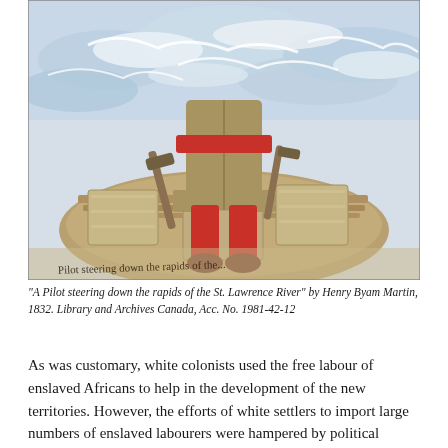[Figure (illustration): Watercolour painting of a pilot steering a boat down rapids, showing the lower body of a figure in a yellow-tan coat and red trousers and shoes, holding a steering oar, with crashing blue-white rapids in the background. A handwritten inscription at the bottom of the painting reads 'Pilot steering down the rapids of the...'.]
"A Pilot steering down the rapids of the St. Lawrence River" by Henry Byam Martin, 1832. Library and Archives Canada, Acc. No. 1981-42-12
As was customary, white colonists used the free labour of enslaved Africans to help in the development of the new territories. However, the efforts of white settlers to import large numbers of enslaved labourers were hampered by political